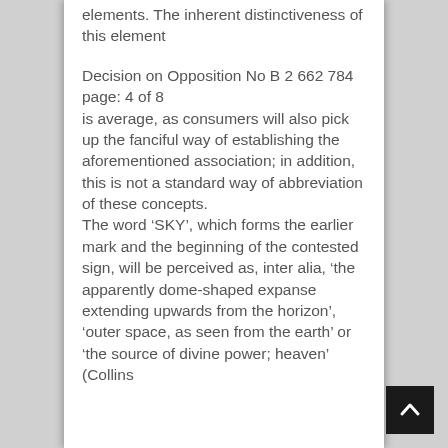elements. The inherent distinctiveness of this element
Decision on Opposition No B 2 662 784 page: 4 of 8
is average, as consumers will also pick up the fanciful way of establishing the aforementioned association; in addition, this is not a standard way of abbreviation of these concepts.
The word ‘SKY’, which forms the earlier mark and the beginning of the contested sign, will be perceived as, inter alia, ‘the apparently dome-shaped expanse extending upwards from the horizon’, ‘outer space, as seen from the earth’ or ‘the source of divine power; heaven’ (Collins